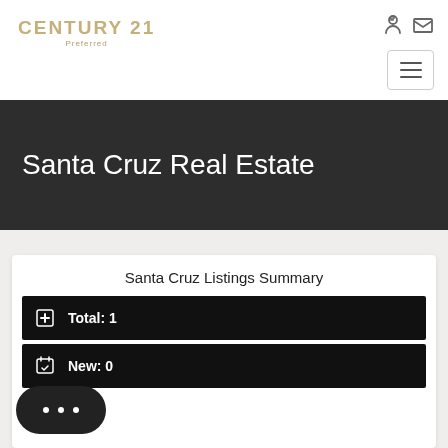[Figure (logo): Century 21 Preferred logo with golden text]
Santa Cruz Real Estate
Santa Cruz Listings Summary
Total: 1
New: 0